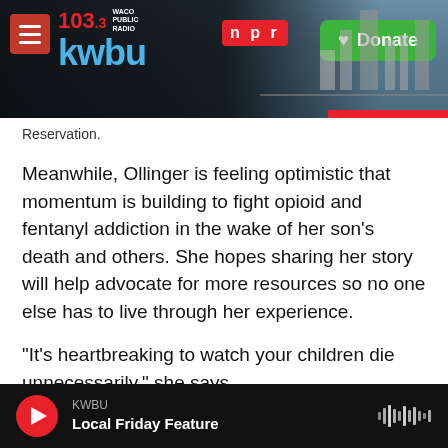[Figure (screenshot): KWBU 103.3 Waco Public Radio NPR website header with logo, hamburger menu, NPR badge, Donate button, and background photo of industrial/city scene]
Reservation.
Meanwhile, Ollinger is feeling optimistic that momentum is building to fight opioid and fentanyl addiction in the wake of her son's death and others. She hopes sharing her story will help advocate for more resources so no one else has to live through her experience.
"It's heartbreaking to watch your children die unnecessarily," she says.
This story is part of a partnership that includes
KWBU / Local Friday Feature